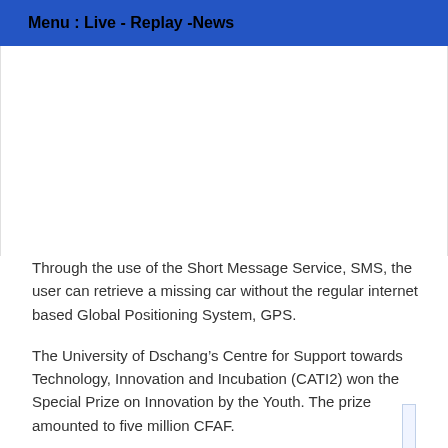Menu : Live - Replay -News
Through the use of the Short Message Service, SMS, the user can retrieve a missing car without the regular internet based Global Positioning System, GPS.
The University of Dschang’s Centre for Support towards Technology, Innovation and Incubation (CATI2) won the Special Prize on Innovation by the Youth. The prize amounted to five million CFAF.